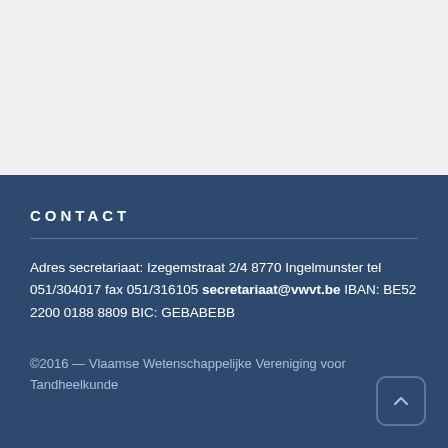CONTACT
Adres secretariaat: Izegemstraat 2/4 8770 Ingelmunster tel 051/304017 fax 051/316105 secretariaat@vwvt.be IBAN: BE52 2200 0188 8809 BIC: GEBABEBB
©2016 — Vlaamse Wetenschappelijke Vereniging voor Tandheelkunde